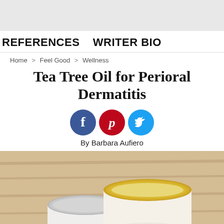REFERENCES   WRITER BIO
Home > Feel Good > Wellness
Tea Tree Oil for Perioral Dermatitis
[Figure (other): Social media share icons: Facebook (blue circle with f), Pinterest (red circle with p), Twitter (blue circle with bird)]
By Barbara Aufiero
[Figure (photo): Two small cosmetic jars on a wooden surface - one with a silver lid open, one with a gold/yellow lid closed, containing cream or ointment]